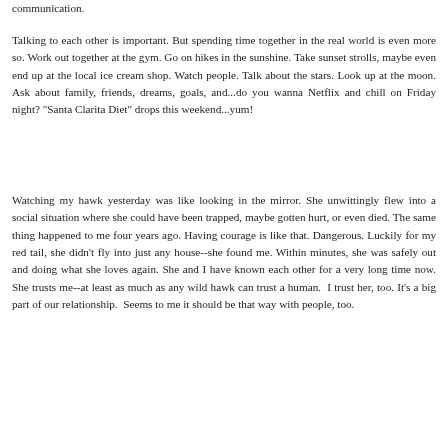communication.
Talking to each other is important. But spending time together in the real world is even more so. Work out together at the gym. Go on hikes in the sunshine. Take sunset strolls, maybe even end up at the local ice cream shop. Watch people. Talk about the stars. Look up at the moon. Ask about family, friends, dreams, goals, and...do you wanna Netflix and chill on Friday night? "Santa Clarita Diet" drops this weekend...yum!
Watching my hawk yesterday was like looking in the mirror. She unwittingly flew into a social situation where she could have been trapped, maybe gotten hurt, or even died. The same thing happened to me four years ago. Having courage is like that. Dangerous. Luckily for my red tail, she didn't fly into just any house--she found me. Within minutes, she was safely out and doing what she loves again. She and I have known each other for a very long time now. She trusts me--at least as much as any wild hawk can trust a human.  I trust her, too. It's a big part of our relationship.  Seems to me it should be that way with people, too.